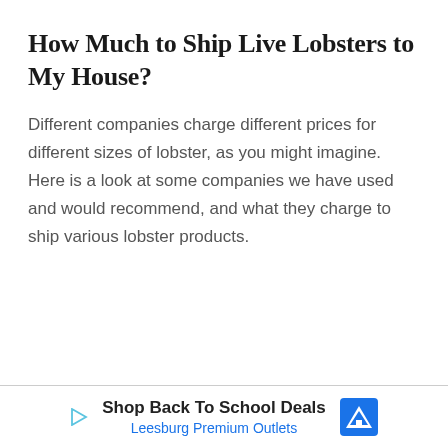How Much to Ship Live Lobsters to My House?
Different companies charge different prices for different sizes of lobster, as you might imagine. Here is a look at some companies we have used and would recommend, and what they charge to ship various lobster products.
Shop Back To School Deals — Leesburg Premium Outlets